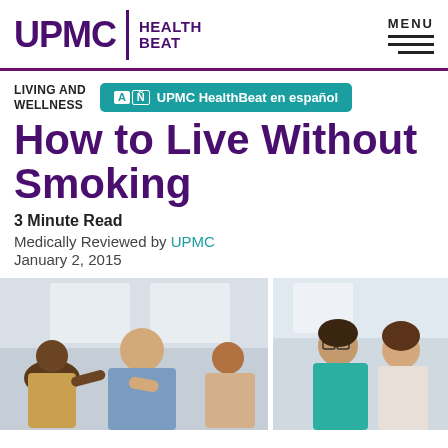UPMC | HEALTH BEAT
LIVING AND WELLNESS
UPMC HealthBeat en español
How to Live Without Smoking
3 Minute Read
Medically Reviewed by UPMC
January 2, 2015
[Figure (photo): Two side-by-side photos of people in a group support setting, appearing to be a smoking cessation counseling session.]